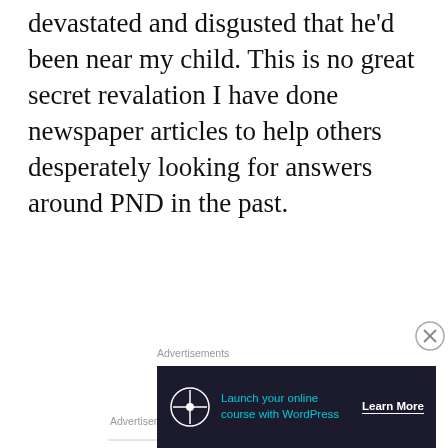devastated and disgusted that he'd been near my child. This is no great secret revalation I have done newspaper articles to help others desperately looking for answers around PND in the past.
Advertisements
[Figure (logo): Automattic logo with circular 'at' symbol icon, followed by text BUILD A BETTER WEB AND A BETTER WORLD.]
Advertisements
[Figure (infographic): Dark banner ad: WordPress icon on left, text 'Launch your online course with WordPress' in teal, 'Learn More' button on right.]